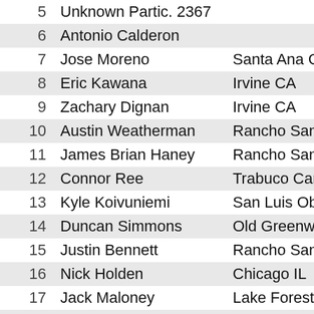| # | Name | City |
| --- | --- | --- |
| 5 | Unknown Partic. 2367 |  |
| 6 | Antonio Calderon |  |
| 7 | Jose Moreno | Santa Ana CA |
| 8 | Eric Kawana | Irvine CA |
| 9 | Zachary Dignan | Irvine CA |
| 10 | Austin Weatherman | Rancho Santa... |
| 11 | James Brian Haney | Rancho Santa... |
| 12 | Connor Ree | Trabuco Cany... |
| 13 | Kyle Koivuniemi | San Luis Obis... |
| 14 | Duncan Simmons | Old Greenwic... |
| 15 | Justin Bennett | Rancho Santa... |
| 16 | Nick Holden | Chicago IL |
| 17 | Jack Maloney | Lake Forest C... |
| 18 | Ricardo Ruiz | Whittier CA |
| 19 | James Bridges | Lakewood CA |
| 20 | Zach Pihl | Santa Ana CA |
| 21 | Hiro Konishi | Aliso Viejo CA |
| 22 | Will Faure | Irvine CA |